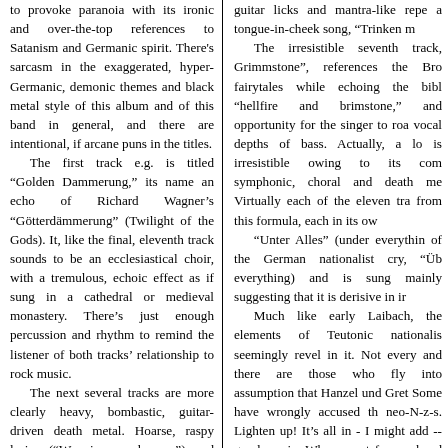to provoke paranoia with its ironic and over-the-top references to Satanism and Germanic spirit. There's sarcasm in the exaggerated, hyper-Germanic, demonic themes and black metal style of this album and of this band in general, and there are intentional, if arcane puns in the titles.

The first track e.g. is titled "Golden Dammerung," its name an echo of Richard Wagner's "Götterdämmerung" (Twilight of the Gods). It, like the final, eleventh track sounds to be an ecclesiastical choir, with a tremulous, echoic effect as if sung in a cathedral or medieval monastery. There's just enough percussion and rhythm to remind the listener of both tracks' relationship to rock music.

The next several tracks are more clearly heavy, bombastic, guitar-driven death metal. Hoarse, raspy lyrics ("We rise as demons") and screaming guitars soar above the minor-key background chants. The listener will hear riffs that are reminiscent of Rammstein, whom Hanzel und Gretyl seem to occasionally emulate and parody. Female bassist Vas Kallas sings the fifth track, "I Am Bad Luck," a menacingly slowed-down, plodding piece in a clearly
guitar licks and mantra-like reps a tongue-in-cheek song, "Trinken m

The irresistible seventh track, Grimmstone", references the Bro fairytales while echoing the bibl "hellfire and brimstone," and opportunity for the singer to roa vocal depths of bass. Actually, a lo is irresistible owing to its com symphonic, choral and death me Virtually each of the eleven tra from this formula, each in its ow

"Unter Alles" (under everythin of the German nationalist cry, "Üb everything) and is sung mainly suggesting that it is derisive in ir

Much like early Laibach, the elements of Teutonic nationalis seemingly revel in it. Not every and there are those who fly into assumption that Hanzel und Gret Some have wrongly accused th neo-N-z-s. Lighten up! It's all in - I might add -- good music. Wha expect from a band headed by a himself Kaizer von Loopy?